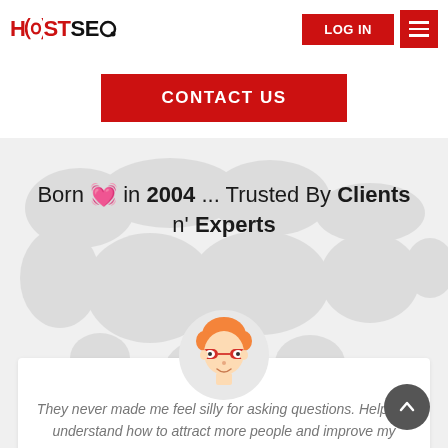[Figure (logo): HOSTSEO logo in red and black text with circular icon]
LOG IN | hamburger menu button
CONTACT US
Born ❤ in 2004 ... Trusted By Clients n' Experts
[Figure (illustration): Cartoon avatar of a person with orange hair and red glasses]
They never made me feel silly for asking questions. Help me understand how to attract more people and improve my search engine ranking.